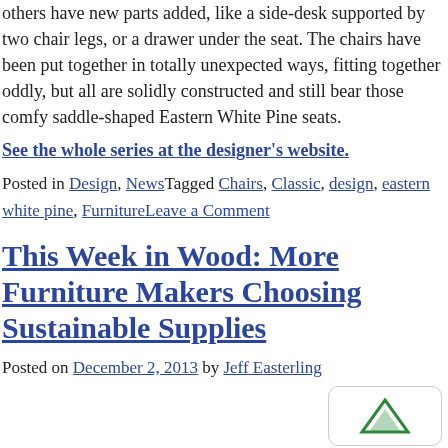others have new parts added, like a side-desk supported by two chair legs, or a drawer under the seat. The chairs have been put together in totally unexpected ways, fitting together oddly, but all are solidly constructed and still bear those comfy saddle-shaped Eastern White Pine seats.
See the whole series at the designer's website.
Posted in Design, NewsTagged Chairs, Classic, design, eastern white pine, FurnitureLeave a Comment
This Week in Wood: More Furniture Makers Choosing Sustainable Supplies
Posted on December 2, 2013 by Jeff Easterling